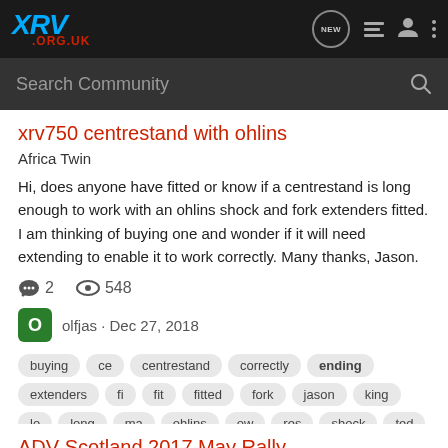XRV .ORG.UK
Search Community
xrv750 centrestand with ohlins
Africa Twin
Hi, does anyone have fitted or know if a centrestand is long enough to work with an ohlins shock and fork extenders fitted. I am thinking of buying one and wonder if it will need extending to enable it to work correctly. Many thanks, Jason.
2 comments, 548 views
olfjas · Dec 27, 2018
buying ce centrestand correctly ending extenders fi fit fitted fork jason king lo long ma ohlins ow res shock ted thinking work xrv xrv750 yo
ADV Scotland 2017 May Rally